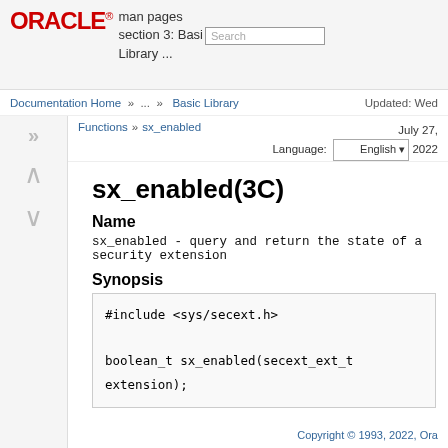ORACLE® man pages section 3: Basic Library ... [Search box]
Documentation Home » ... » Basic Library    Updated: Wed
Functions » sx_enabled    July 27, 2022   Language: English
sx_enabled(3C)
Name
sx_enabled - query and return the state of a security extension
Synopsis
#include <sys/secext.h>

boolean_t sx_enabled(secext_ext_t extension);
Copyright © 1993, 2022, Ora